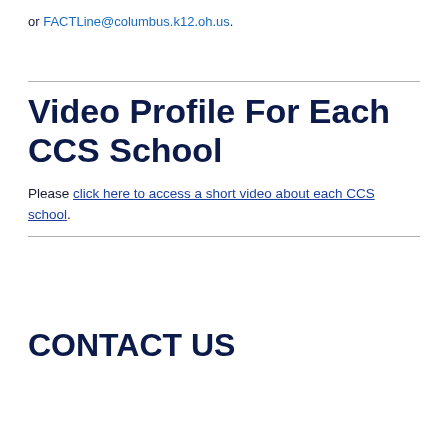or FACTLine@columbus.k12.oh.us.
Video Profile For Each CCS School
Please click here to access a short video about each CCS school.
CONTACT US